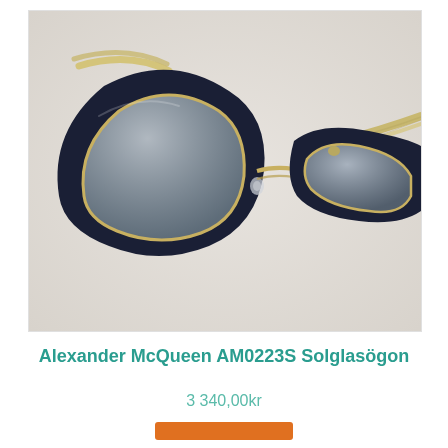[Figure (photo): Close-up product photo of Alexander McQueen AM0223S cat-eye sunglasses with dark navy/black thick frame, gradient grey lenses, gold metal inner frame detail, and gold metal temples, on a light grey/white background.]
Alexander McQueen AM0223S Solglasögon
3 340,00kr